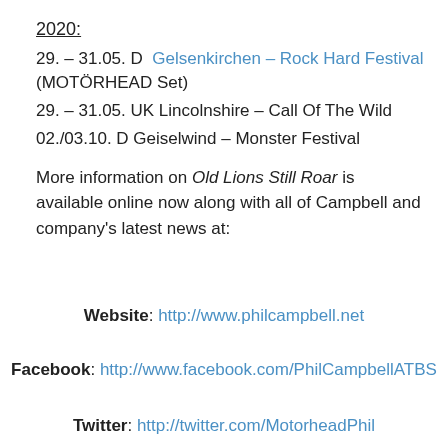2020:
29. – 31.05. D  Gelsenkirchen – Rock Hard Festival (MOTÖRHEAD Set)
29. – 31.05. UK Lincolnshire – Call Of The Wild
02./03.10. D Geiselwind – Monster Festival
More information on Old Lions Still Roar is available online now along with all of Campbell and company's latest news at:
Website: http://www.philcampbell.net
Facebook: http://www.facebook.com/PhilCampbellATBS
Twitter: http://twitter.com/MotorheadPhil